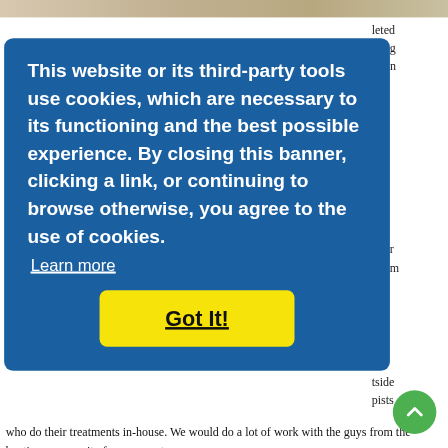[Figure (photo): Top strip showing partial outdoor/nature scene]
leted
eting
ng in
ar.
This website or its third-party tools use cookies, which are necessary to its functioning and the best possible experience. By closing this banner, clicking a link, or continuing to browse otherwise, you agree to the use of cookies.
Learn more
Got It!
after
urism
ent.
tside
pists
who do their treatments in-house. We would do a lot of work with the guys from the boating community for our guests.
“There are other small entities that can come in and provide service for our guests here on property, as well as we will be able to send our guests out to some of these other local vendors they can experience stuff the property as well,” he said.